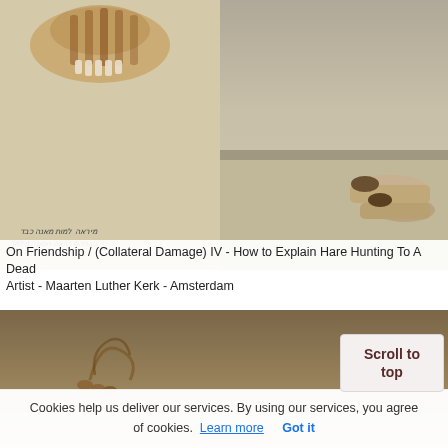[Figure (photo): Two-panel image: left panel shows an artwork on a cream/beige background with decorative skull/animal motif at top and Hebrew/non-Latin text below; right panel shows a person lying on a floor in a gallery or church setting]
On Friendship / (Collateral Damage) IV - How to Explain Hare Hunting To A Dead Artist - Maarten Luther Kerk - Amsterdam
[Figure (photo): Close-up photo of a dark sculptural object (possibly an animal skull or horn) resting on a stone floor, with warm brown and tan tones]
Lumen Travo Gallery - Amsterdam: Joseph Sassoon Semah – On Friendship / (Collateral Damage) IV
Cookies help us deliver our services. By using our services, you agree of cookies. Learn more Got it